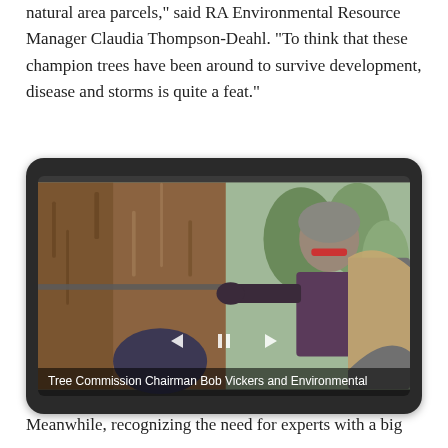natural area parcels," said RA Environmental Resource Manager Claudia Thompson-Deahl. "To think that these champion trees have been around to survive development, disease and storms is quite a feat."
[Figure (photo): A man wearing a fur hat and sunglasses measuring a large tree trunk with a tape measure, alongside another person with long hair, in an outdoor woodland setting. Caption reads: Tree Commission Chairman Bob Vickers and Environmental]
Meanwhile, recognizing the need for experts with a big saw,